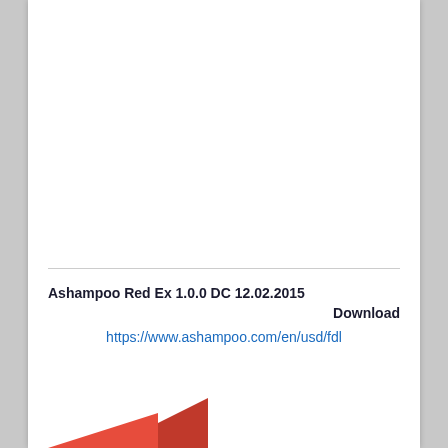Ashampoo Red Ex 1.0.0 DC 12.02.2015
Download
https://www.ashampoo.com/en/usd/fdl
[Figure (illustration): Red geometric shape / logo element at bottom left of page]